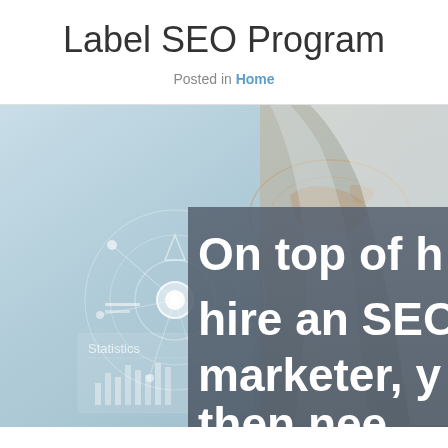Label SEO Program
Posted in Home
[Figure (photo): A person in a white coat interacting with a digital interface showing a world map and statistics dashboard, with a dark semi-transparent overlay containing large white text reading 'On top of h hire an SEO marketer, y then nee']
On top of h hire an SEO marketer, y then nee